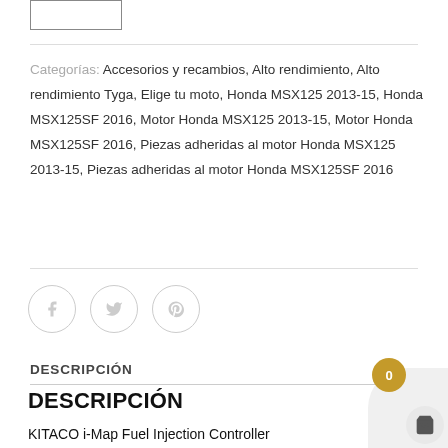Categorías: Accesorios y recambios, Alto rendimiento, Alto rendimiento Tyga, Elige tu moto, Honda MSX125 2013-15, Honda MSX125SF 2016, Motor Honda MSX125 2013-15, Motor Honda MSX125SF 2016, Piezas adheridas al motor Honda MSX125 2013-15, Piezas adheridas al motor Honda MSX125SF 2016
[Figure (other): Social sharing icons: Facebook, Twitter, Pinterest]
DESCRIPCIÓN
DESCRIPCIÓN
KITACO i-Map Fuel Injection Controller
Developed for the Honda MSX125 Grom, giving many choices of fuelling to suit different camshafts, exhausts and